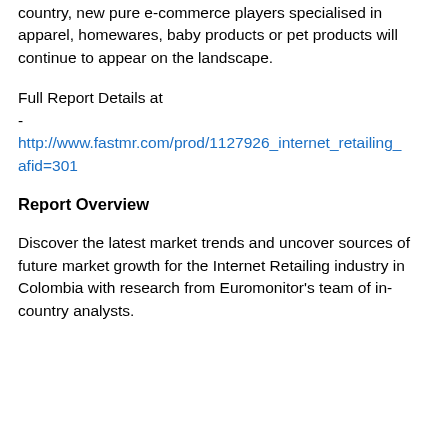country, new pure e-commerce players specialised in apparel, homewares, baby products or pet products will continue to appear on the landscape.
Full Report Details at
-
http://www.fastmr.com/prod/1127926_internet_retailing afid=301
Report Overview
Discover the latest market trends and uncover sources of future market growth for the Internet Retailing industry in Colombia with research from Euromonitor's team of in-country analysts.